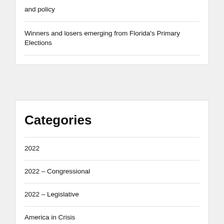and policy
Winners and losers emerging from Florida's Primary Elections
Categories
2022
2022 – Congressional
2022 – Legislative
America in Crisis
APolitical
Communities
Coronavirus
Culture Wars